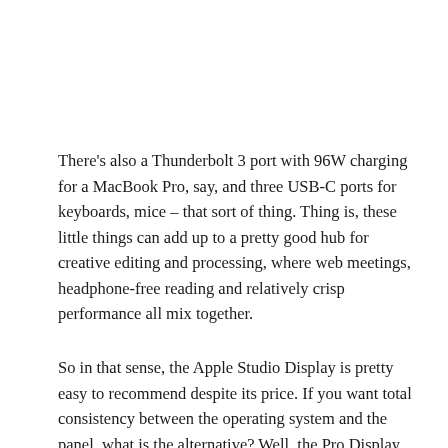There's also a Thunderbolt 3 port with 96W charging for a MacBook Pro, say, and three USB-C ports for keyboards, mice – that sort of thing. Thing is, these little things can add up to a pretty good hub for creative editing and processing, where web meetings, headphone-free reading and relatively crisp performance all mix together.
So in that sense, the Apple Studio Display is pretty easy to recommend despite its price. If you want total consistency between the operating system and the panel, what is the alternative? Well, the Pro Display XDR. This device is also packed with features that qualify it for Pixar graphic designers, not your successful YouTube channel.